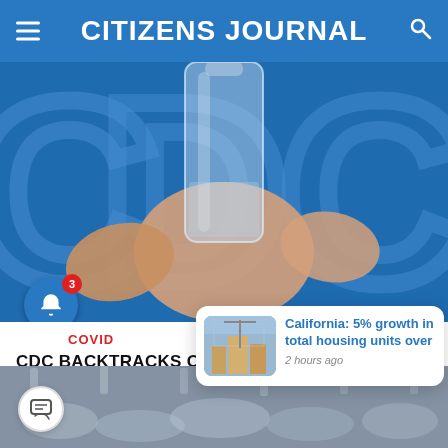CITIZENS JOURNAL
[Figure (photo): A hand holding a clear glass vaccine vial in front of a blue CDC logo background]
COVID
CDC BACKTRACKS ON COVID GUIDANCE AS DAMNING STUDIES MOUNT
[Figure (photo): Notification popup showing a construction site thumbnail with text: California: 5% growth in total housing units over, 2 hours ago]
[Figure (photo): Bottom strip showing a crowded indoor scene, partially visible]